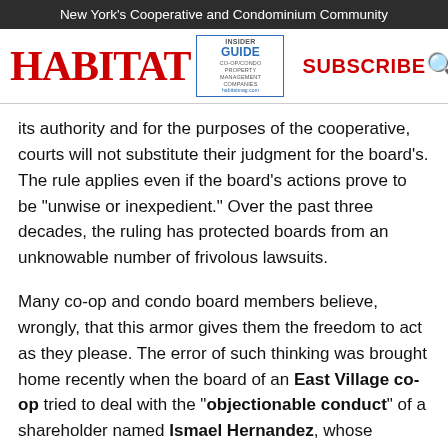New York's Cooperative and Condominium Community
[Figure (logo): Habitat magazine logo with 'INSIDER GUIDE CO-OP/CONDO PROPERTY MANAGEMENT COMPANIES' box, SUBSCRIBE link, search icon and hamburger menu]
its authority and for the purposes of the cooperative, courts will not substitute their judgment for the board's. The rule applies even if the board's actions prove to be “unwise or inexpedient.” Over the past three decades, the ruling has protected boards from an unknowable number of frivolous lawsuits.
Many co-op and condo board members believe, wrongly, that this armor gives them the freedom to act as they please. The error of such thinking was brought home recently when the board of an East Village co-op tried to deal with the “objectionable conduct” of a shareholder named Ismael Hernandez, whose friends, according to a report in The New York Post, shot drugs and had sex in the building’s common areas. The Post article appeared under the headline “East Village Street Has Another Neighbor From Hell.”